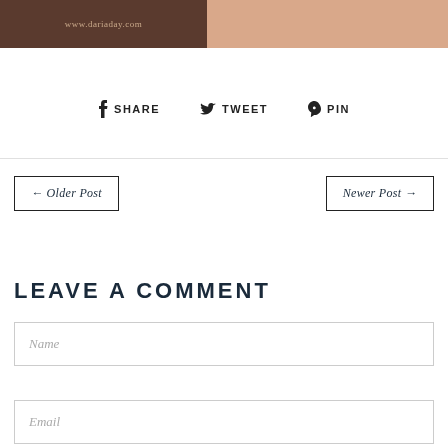[Figure (photo): Two side-by-side image panels: left panel is dark brown background with text 'www.dariaday.com', right panel shows a skin/flesh-toned close-up photo]
f SHARE   🐦 TWEET   ♟ PIN
← Older Post
Newer Post →
LEAVE A COMMENT
Name
Email